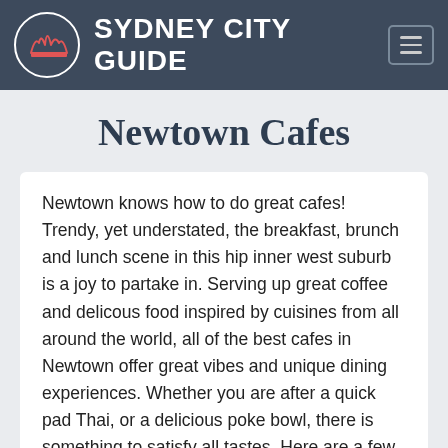SYDNEY CITY GUIDE
Newtown Cafes
Newtown knows how to do great cafes! Trendy, yet understated, the breakfast, brunch and lunch scene in this hip inner west suburb is a joy to partake in. Serving up great coffee and delicous food inspired by cuisines from all around the world, all of the best cafes in Newtown offer great vibes and unique dining experiences. Whether you are after a quick pad Thai, or a delicious poke bowl, there is something to satisfy all tastes. Here are a few venues you should definitely check out.